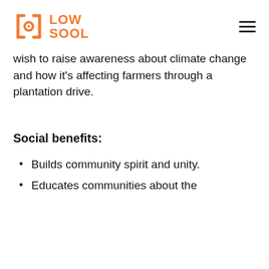[Figure (logo): Low Sool logo with orange bracket icon and orange text]
wish to raise awareness about climate change and how it's affecting farmers through a plantation drive.
Social benefits:
Builds community spirit and unity.
Educates communities about the